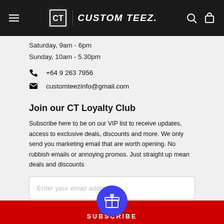CUSTOM TEEZ. navigation header
Saturday, 9am - 6pm
Sunday, 10am - 5.30pm
+64 9 263 7956
customteezinfo@gmail.com
Join our CT Loyalty Club
Subscribe here to be on our VIP list to receive updates, access to exclusive deals, discounts and more. We only send you marketing email that are worth opening. No rubbish emails or annoying promos. Just straight up mean deals and discounts
Enter your email address
SUBSCRIBE